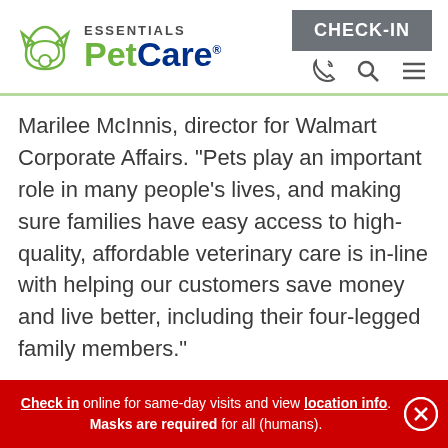[Figure (logo): Essentials PetCare logo with cat icon, green and blue text]
Marilee McInnis, director for Walmart Corporate Affairs. "Pets play an important role in many people's lives, and making sure families have easy access to high-quality, affordable veterinary care is in-line with helping our customers save money and live better, including their four-legged family members."
The Dallas-Fort Worth clinics will be located at Walmart stores in the cities of Anna, Cross Roads, Fort
Check in online for same-day visits and view location info. Masks are required for all (humans).